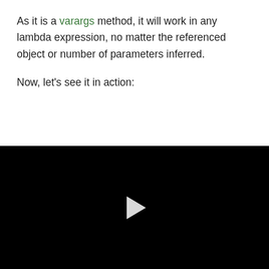As it is a varargs method, it will work in any lambda expression, no matter the referenced object or number of parameters inferred.
Now, let's see it in action:
[Figure (other): Black video player with a white play button triangle in the center]